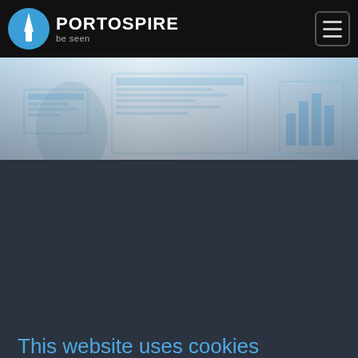[Figure (logo): Portospire logo with circular icon showing a spire/tower shape, brand name PORTOSPIRE in white bold text, tagline 'be seen' in grey below]
[Figure (photo): Hero banner showing a person interacting with futuristic holographic digital interface screens, light blue and white tones, technology theme]
This website uses cookies
We use cookies to personalise content and to analyze our traffic. We do not share information about your use of our site with any partners.
Review our cookie policy for more information.
✓ Accept all Cookies
ℹ More info